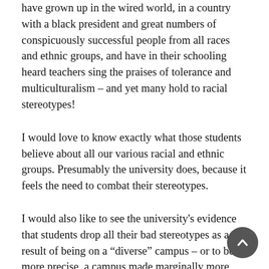have grown up in the wired world, in a country with a black president and great numbers of conspicuously successful people from all races and ethnic groups, and have in their schooling heard teachers sing the praises of tolerance and multiculturalism – and yet many hold to racial stereotypes!
I would love to know exactly what those students believe about all our various racial and ethnic groups. Presumably the university does, because it feels the need to combat their stereotypes.
I would also like to see the university's evidence that students drop all their bad stereotypes as a result of being on a “diverse” campus – or to be more precise, a campus made marginally more diverse due to the policy of favoring students from certain groups. (After all, quite a few minority students are accepted without preferences.) Certainly the university has carefully studied how the attitudes of its